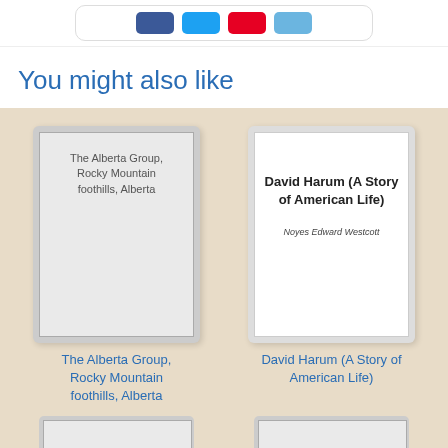[Figure (other): Social share buttons: Facebook (blue), Twitter (cyan), Pinterest (red), Email (light blue) inside a rounded white card]
You might also like
[Figure (illustration): Book cover: The Alberta Group, Rocky Mountain foothills, Alberta — gray cover with text]
The Alberta Group, Rocky Mountain foothills, Alberta
[Figure (illustration): Book cover: David Harum (A Story of American Life) by Noyes Edward Westcott — white cover with bold title and italic author]
David Harum (A Story of American Life)
[Figure (illustration): Partial book cover thumbnail at bottom left]
[Figure (illustration): Partial book cover thumbnail at bottom right]